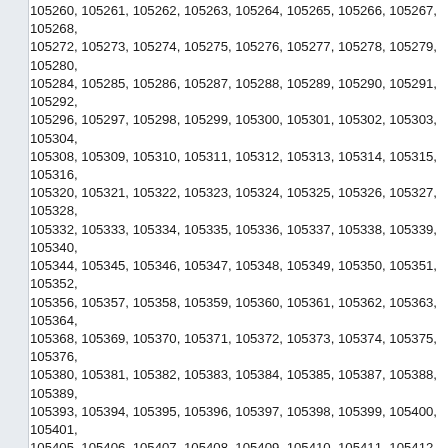105260, 105261, 105262, 105263, 105264, 105265, 105266, 105267, 105268, 105272, 105273, 105274, 105275, 105276, 105277, 105278, 105279, 105280, 105284, 105285, 105286, 105287, 105288, 105289, 105290, 105291, 105292, 105296, 105297, 105298, 105299, 105300, 105301, 105302, 105303, 105304, 105308, 105309, 105310, 105311, 105312, 105313, 105314, 105315, 105316, 105320, 105321, 105322, 105323, 105324, 105325, 105326, 105327, 105328, 105332, 105333, 105334, 105335, 105336, 105337, 105338, 105339, 105340, 105344, 105345, 105346, 105347, 105348, 105349, 105350, 105351, 105352, 105356, 105357, 105358, 105359, 105360, 105361, 105362, 105363, 105364, 105368, 105369, 105370, 105371, 105372, 105373, 105374, 105375, 105376, 105380, 105381, 105382, 105383, 105384, 105385, 105387, 105388, 105389, 105393, 105394, 105395, 105396, 105397, 105398, 105399, 105400, 105401, 105405, 105406, 105407, 105408, 105409, 105410, 105411, 105412, 105413, 105417, 105418, 105419, 105420, 105421, 105422, 105423, 105424, 105425, 105429, 105430, 105431, 105432, 105433, 105434, 105435, 105436, 105437, 105441, 105442, 105443, 105444, 105445, 105446, 105447, 105448, 105449, 105453, 105454, 105455, 105456, 105457, 105458, 105459, 105460, 105461, 105465, 105466, 105467, 105468, 105469, 105470, 105471, 105472, 105473, 105477, 105478, 105479, 105480, 105481, 105483, 105484, 105485, 105486, 105490, 105491, 105492, 105493, 105494, 105495, 105496, 105497, 105498, 105502, 105503, 105504, 105505, 105506, 105507, 105508, 105509, 105510, 105514, 105515, 105516, 105517, 105518, 105519, 105520, 105521, 105522, 105526, 105527, 105528, 105529, 105530, 105531, 105532, 105533, 105534, 105538, 105539, 105540, 105541, 105542, 105543, 105544, 105545, 105546, 105550, 105551, 105552, 105553, 105554, 105555, 105556, 105557, 105558, 105562, 105563, 105564, 105565, 105566, 105567, 105568, 105569, 105570, 105574, 105575, 105576, 105577, 105578, 105579, 105580, 105581, 105582, 105586, 105588, 105589, 105590, 105591, 105592, 105593, 105594, 105595, 105599, 105600, 105601, 105602, 105603, 105604, 105605, 105606, 105607, 105611, 105612, 105613, 105614, 105615, 105616, 105617, 105618, 105619, 105623, 105624, 105625, 105626, 105627, 105628, 105629, 105630, 105631, 105635, 105636, 105637, 105638, 105639, 105640, 105641, 105642, 105643